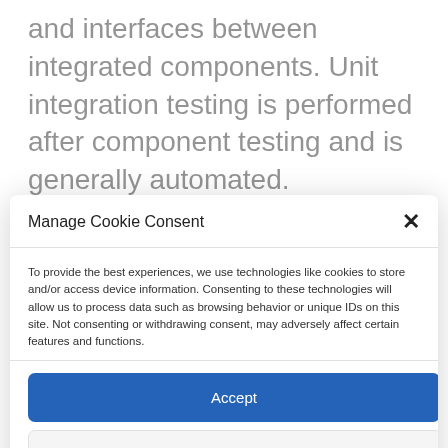and interfaces between integrated components. Unit integration testing is performed after component testing and is generally automated.
Manage Cookie Consent
To provide the best experiences, we use technologies like cookies to store and/or access device information. Consenting to these technologies will allow us to process data such as browsing behavior or unique IDs on this site. Not consenting or withdrawing consent, may adversely affect certain features and functions.
Accept
Deny
View preferences
Privacy Policy